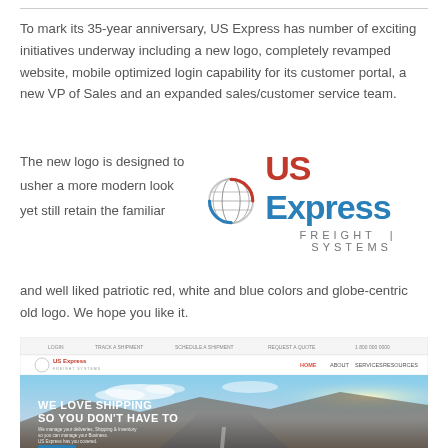To mark its 35-year anniversary, US Express has number of exciting initiatives underway including a new logo, completely revamped website, mobile optimized login capability for its customer portal, a new VP of Sales and an expanded sales/customer service team.
The new logo is designed to usher a more modern look yet still retain the familiar and well liked patriotic red, white and blue colors and globe-centric old logo. We hope you like it.
[Figure (logo): US Express Freight Systems logo with globe icon and blue/red text]
[Figure (screenshot): Screenshot of US Express Freight Systems website showing navigation bar and hero image with 'WE LOVE SHIPPING SO YOU DON'T HAVE TO' text over a highway photo]